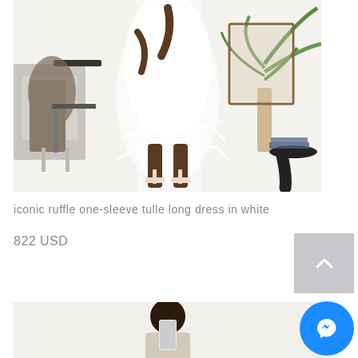[Figure (photo): A person wearing a white ruffle one-sleeve tulle long dress, showing the lower body, with white heeled sandals. Background includes a modern chair, plants, and a side table in a bright interior setting.]
iconic ruffle one-sleeve tulle long dress in white
822 USD
[Figure (photo): A person with dark hair taking a selfie with a phone in a mirror, wearing a light-colored outfit, in a bright white room.]